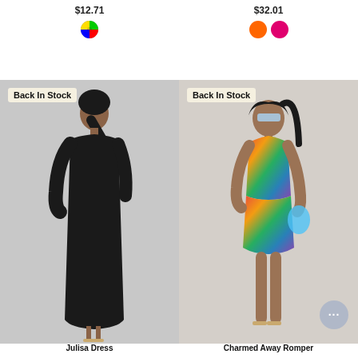$12.71
[Figure (other): Multicolor swatch circle for left product]
$32.01
[Figure (other): Orange and pink swatch circles for right product]
[Figure (photo): Woman wearing black long-sleeve velvet maxi dress, Back In Stock badge]
[Figure (photo): Woman wearing multicolor tie-dye romper shorts, Back In Stock badge, chat button overlay]
Julisa Dress
Charmed Away Romper